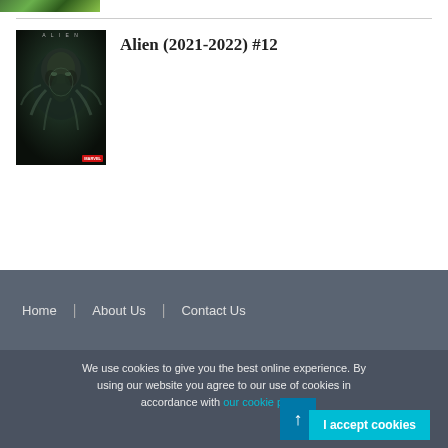[Figure (photo): Partial view of a green nature/plant image at top of page]
[Figure (illustration): Comic book cover for Alien (2021-2022) #12, dark sci-fi themed cover with alien creature, Marvel Comics]
Alien (2021-2022) #12
Home | About Us | Contact Us
We use cookies to give you the best online experience. By using our website you agree to our use of cookies in accordance with our cookie policy.